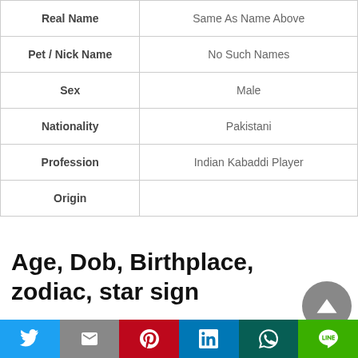| Field | Value |
| --- | --- |
| Real Name | Same As Name Above |
| Pet / Nick Name | No Such Names |
| Sex | Male |
| Nationality | Pakistani |
| Profession | Indian Kabaddi Player |
| Origin |  |
Age, Dob, Birthplace, zodiac, star sign
| Name | Age |
| --- | --- |
| Jaffer Zaidi | 2 years, 8 month, 17 days |